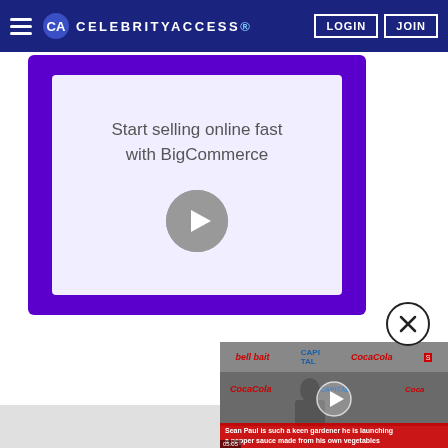CELEBRITYACCESS. LOGIN JOIN
[Figure (screenshot): BigCommerce advertisement banner with purple border, light background, text 'Start selling online fast with BigCommerce', and a grey circular arrow/play button]
[Figure (screenshot): Video thumbnail showing Sean Paul at a Coca-Cola branded event wearing sunglasses, with a play button overlay and red caption bar reading 'Sean Paul is such a keen gardener he is launching a pepper sauce made from his own vegetables']